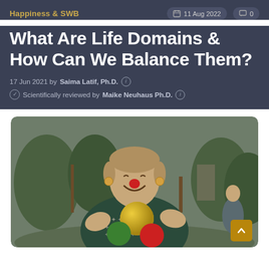Happiness & SWB
11 Aug 2022  0
What Are Life Domains & How Can We Balance Them?
17 Jun 2021 by Saima Latif, Ph.D.
Scientifically reviewed by Maike Neuhaus Ph.D.
[Figure (photo): A woman dressed as a clown with a red nose, smiling and holding colorful juggling balls (yellow, green, red) toward the camera. Background shows trees and an outdoor setting.]